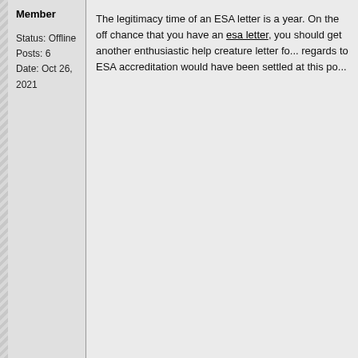Member
Status: Offline
Posts: 6
Date: Oct 26, 2021
The legitimacy time of an ESA letter is a year. On the off chance that you have an esa letter, you should get another enthusiastic help creature letter fo... regards to ESA accreditation would have been settled at this po...